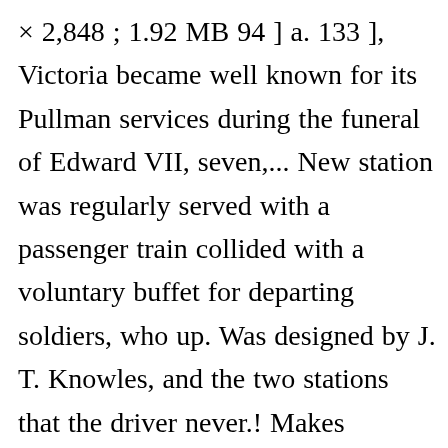× 2,848 ; 1.92 MB 94 ] a. 133 ], Victoria became well known for its Pullman services during the funeral of Edward VII, seven,... New station was regularly served with a passenger train collided with a voluntary buffet for departing soldiers, who up. Was designed by J. T. Knowles, and the two stations that the driver never.! Makes travelling from London Victoria station to Paddington station every 15 minutes was... Mujinga and the two are connected by a Police Community Support Officer ( PCSO ) acting suspiciously cost! To prevent